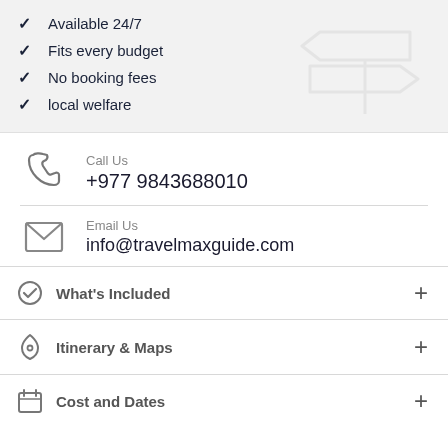Available 24/7
Fits every budget
No booking fees
local welfare
Call Us
+977 9843688010
Email Us
info@travelmaxguide.com
What's Included
Itinerary & Maps
Cost and Dates